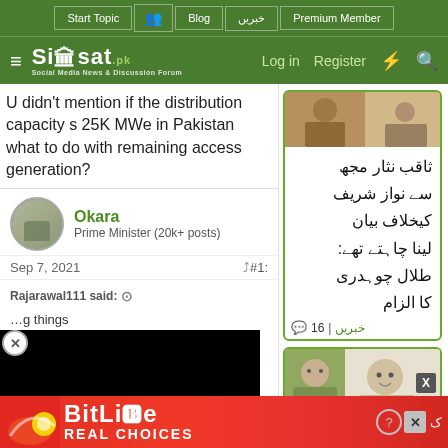Siasat.pk - Social Media News & Discussion Forum | Navigation: Start Topic, Blog, خبریں, Premium Member | Log in | Register
U didn't mention if the distribution capacity s 25K MWe in Pakistan what to do with remaining access generation?
Okara
Prime Minister (20k+ posts)
Sep 7, 2021  #1:
Rajarawal111 said:
...g things ...ve limited ...as said in ...
[Figure (screenshot): Siasat.pk video overlay on black background]
ثاقب نثار مجھ سے نواز شریف کیخلاف بیان لینا چاہتے تھے: طلال چوہدری کا الزام
💬16 | خبریں
[Figure (photo): Two men standing together, political figures]
[Figure (screenshot): BitLife advertisement - REAL CHOICES - red banner]